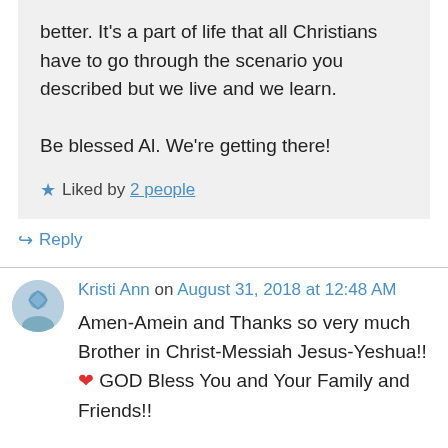better. It's a part of life that all Christians have to go through the scenario you described but we live and we learn.

Be blessed Al. We're getting there!
★ Liked by 2 people
↪ Reply
Kristi Ann on August 31, 2018 at 12:48 AM
Amen-Amein and Thanks so very much Brother in Christ-Messiah Jesus-Yeshua!! ❤ GOD Bless You and Your Family and Friends!!

GOD BLESS ALL my Sisters and Brothers in Christ Jesus-Yeshua and Your Families and